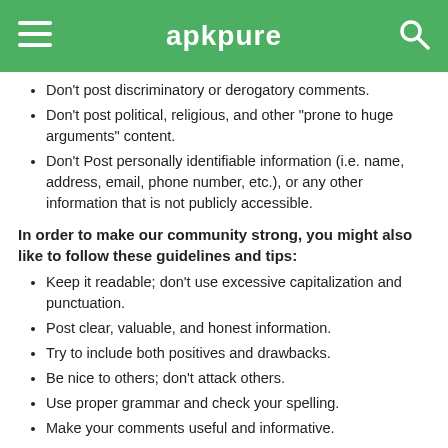apkpure
Don't post discriminatory or derogatory comments.
Don't post political, religious, and other "prone to huge arguments" content.
Don't Post personally identifiable information (i.e. name, address, email, phone number, etc.), or any other information that is not publicly accessible.
In order to make our community strong, you might also like to follow these guidelines and tips:
Keep it readable; don't use excessive capitalization and punctuation.
Post clear, valuable, and honest information.
Try to include both positives and drawbacks.
Be nice to others; don't attack others.
Use proper grammar and check your spelling.
Make your comments useful and informative.
We will remove any comments that include such materials, and we reserve the right to block or remove any user who does not comply with these community guidelines. Thank you!